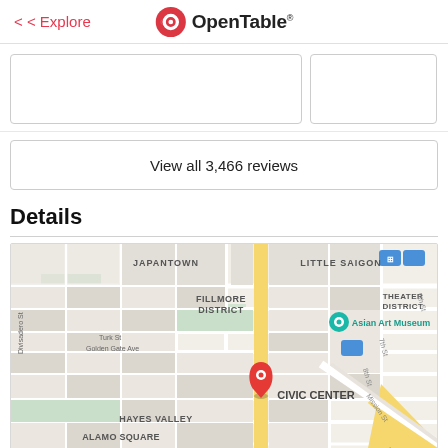< Explore | OpenTable
[Figure (screenshot): Two empty review card placeholders side by side]
View all 3,466 reviews
Details
[Figure (map): Google Map showing San Francisco neighborhoods including Japantown, Little Saigon, Fillmore District, Asian Art Museum, Theater District, Civic Center, Hayes Valley, Alamo Square, Lower Haight. Red pin marker at Civic Center location.]